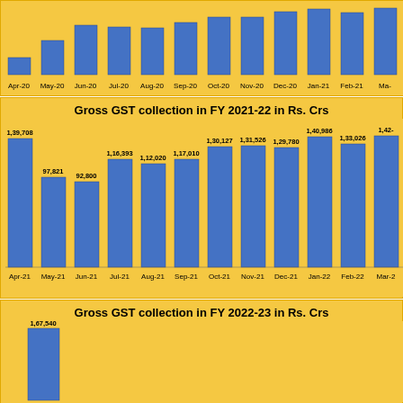[Figure (bar-chart): Gross GST collection in FY 2020-21 in Rs. Crs]
[Figure (bar-chart): Gross GST collection in FY 2021-22 in Rs. Crs]
[Figure (bar-chart): Gross GST collection in FY 2022-23 in Rs. Crs]